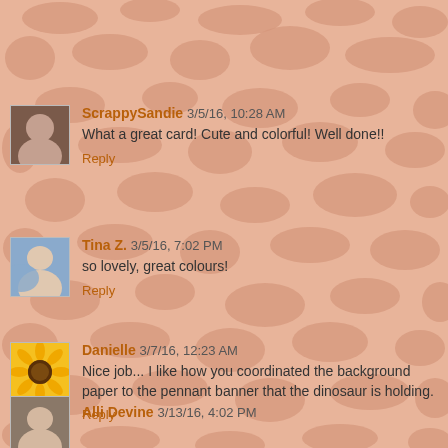[Figure (illustration): Giraffe-pattern background — salmon/peach colored irregular stone/giraffe print tiles on a cream background]
ScrappySandie 3/5/16, 10:28 AM
What a great card! Cute and colorful! Well done!!
Reply
Tina Z. 3/5/16, 7:02 PM
so lovely, great colours!
Reply
Danielle 3/7/16, 12:23 AM
Nice job... I like how you coordinated the background paper to the pennant banner that the dinosaur is holding.
Reply
Alli Devine 3/13/16, 4:02 PM